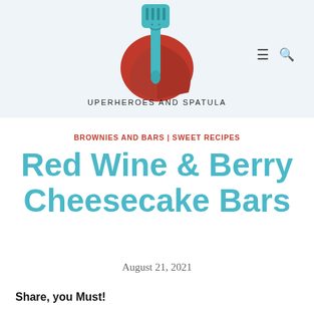[Figure (logo): Superheroes and Spatulas logo: a teal spatula wearing a red superhero cape, with the text 'Superheroes and Spatulas' below in a hand-lettered style]
BROWNIES AND BARS | SWEET RECIPES
Red Wine & Berry Cheesecake Bars
August 21, 2021
Share, you Must!